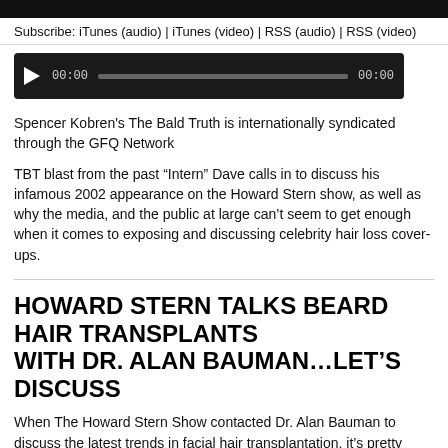Subscribe: iTunes (audio) | iTunes (video) | RSS (audio) | RSS (video)
[Figure (other): Audio player with play button, time display 00:00, progress bar, and end time 00:00 on dark background]
Spencer Kobren's The Bald Truth is internationally syndicated through the GFQ Network
TBT blast from the past “Intern” Dave calls in to discuss his infamous 2002 appearance on the Howard Stern show, as well as why the media, and the public at large can’t seem to get enough when it comes to exposing and discussing celebrity hair loss cover-ups.
HOWARD STERN TALKS BEARD HAIR TRANSPLANTS WITH DR. ALAN BAUMAN…LET’S DISCUSS
When The Howard Stern Show contacted Dr. Alan Bauman to discuss the latest trends in facial hair transplantation, it’s pretty clear that Howard wasn’t prepared for Dr. Bauman’s straight forward line of questioning concerning his own head of hair. Chaunce Hayden, former Stern insider, calls in to offer his thoughts on the subject, and of course Andrew Zarian, GFQ founder, and longtime Stern fan had add his two cents.